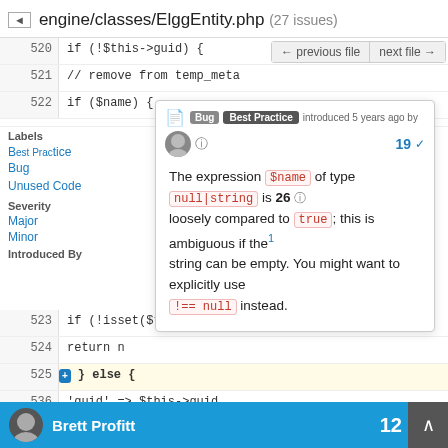engine/classes/ElggEntity.php (27 issues)
520    if (!$this->guid) {
521    // remove from temp_meta
522    if ($name) {
[Figure (screenshot): Code review popup showing Best Practice tag, introduced 5 years ago by user, count 19. Message: The expression $name of type null|string is loosely compared to true; this is ambiguous if the string can be empty. You might want to explicitly use !== null instead.]
523    if (!isset($this
524    return n
525    } else {
536    'guid' => $this->guid,
537    'limit' => 0
Labels  Bug  Unused Code  Severity  Major  Minor  Introduced By
Brett Profitt  12